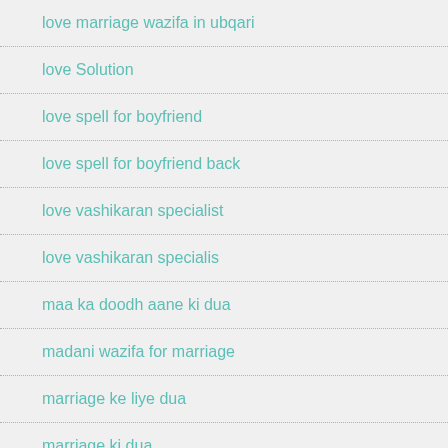love marriage wazifa in ubqari
love Solution
love spell for boyfriend
love spell for boyfriend back
love vashikaran specialist
love vashikaran specialis
[Figure (screenshot): Black banner overlay with white bold text: Click to Consult on Whatsapp]
maa ka doodh aane ki dua
madani wazifa for marriage
marriage ke liye dua
marriage ki dua